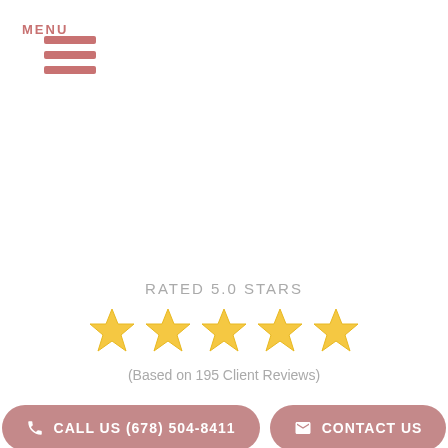[Figure (other): Hamburger menu icon with three horizontal bars and MENU label below]
RATED 5.0 STARS
[Figure (other): Five golden/yellow star icons representing a 5.0 star rating]
(Based on 195 Client Reviews)
CALL US (678) 504-8411
CONTACT US